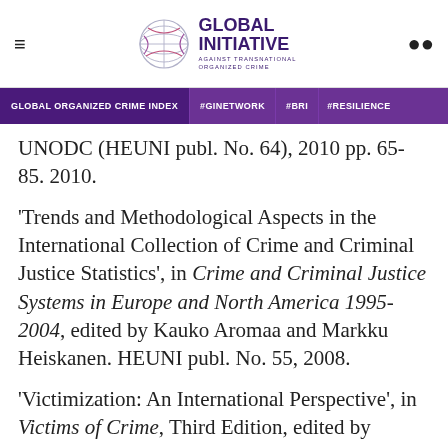Global Initiative Against Transnational Organized Crime — navigation header
GLOBAL ORGANIZED CRIME INDEX | #GINETWORK | #BRI | #RESILIENCE
UNODC (HEUNI publ. No. 64), 2010 pp. 65-85. 2010.
'Trends and Methodological Aspects in the International Collection of Crime and Criminal Justice Statistics', in Crime and Criminal Justice Systems in Europe and North America 1995-2004, edited by Kauko Aromaa and Markku Heiskanen. HEUNI publ. No. 55, 2008.
'Victimization: An International Perspective', in Victims of Crime, Third Edition, edited by Robert Davis, Arthur